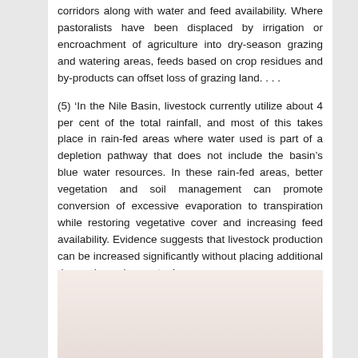corridors along with water and feed availability. Where pastoralists have been displaced by irrigation or encroachment of agriculture into dry-season grazing and watering areas, feeds based on crop residues and by-products can offset loss of grazing land. . . .
(5) ‘In the Nile Basin, livestock currently utilize about 4 per cent of the total rainfall, and most of this takes place in rain-fed areas where water used is part of a depletion pathway that does not include the basin’s blue water resources. In these rain-fed areas, better vegetation and soil management can promote conversion of excessive evaporation to transpiration while restoring vegetative cover and increasing feed availability. Evidence suggests that livestock production can be increased significantly without placing additional demands on river water.’
[Figure (photo): Partial image visible at bottom of page, appears to be a photograph with warm/beige tones, content mostly cut off.]